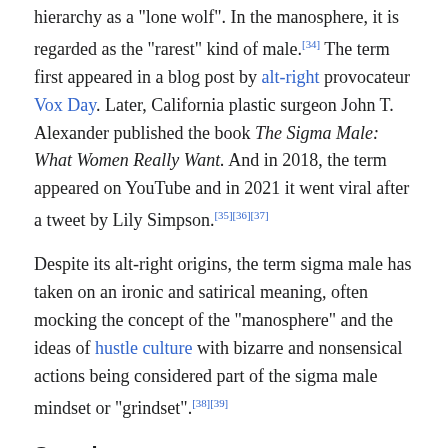hierarchy as a "lone wolf". In the manosphere, it is regarded as the "rarest" kind of male.[34] The term first appeared in a blog post by alt-right provocateur Vox Day. Later, California plastic surgeon John T. Alexander published the book The Sigma Male: What Women Really Want. And in 2018, the term appeared on YouTube and in 2021 it went viral after a tweet by Lily Simpson.[35][36][37]
Despite its alt-right origins, the term sigma male has taken on an ironic and satirical meaning, often mocking the concept of the "manosphere" and the ideas of hustle culture with bizarre and nonsensical actions being considered part of the sigma male mindset or "grindset".[38][39]
See also
Toxic masculinity
Internet slang